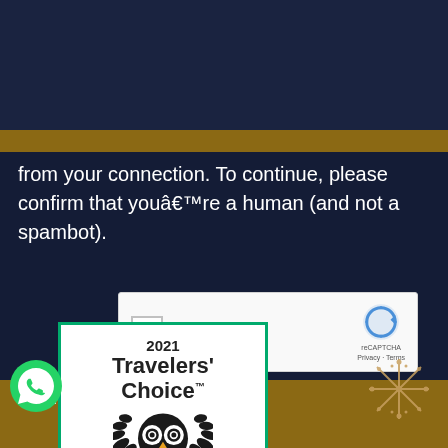[Figure (screenshot): Dark navy blue top bar area of a website]
from your connection. To continue, please confirm that youâ€™re a human (and not a spambot).
[Figure (screenshot): reCAPTCHA widget with checkbox labeled 'I'm not a robot' and reCAPTCHA branding with Privacy and Terms links]
[Figure (logo): 2021 Travelers' Choice Tripadvisor badge with owl logo and laurel wreath]
[Figure (logo): WhatsApp green chat icon]
connection. To continue,